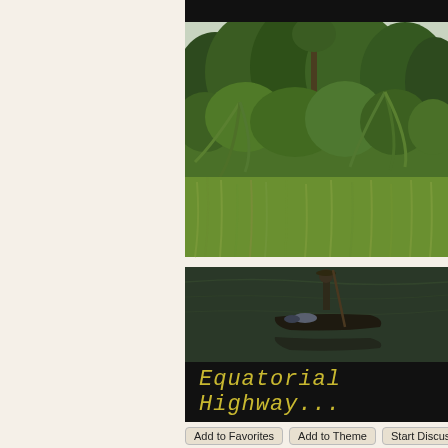[Figure (photo): A person standing on a traditional wooden dugout canoe, using a long pole to navigate a calm dark river. Dense tropical vegetation including tall grasses and palm trees line the riverbank in the background. The scene appears to be in equatorial Africa.]
Equatorial Highway...
Add to Favorites
Add to Theme
Start Discussion
Po...